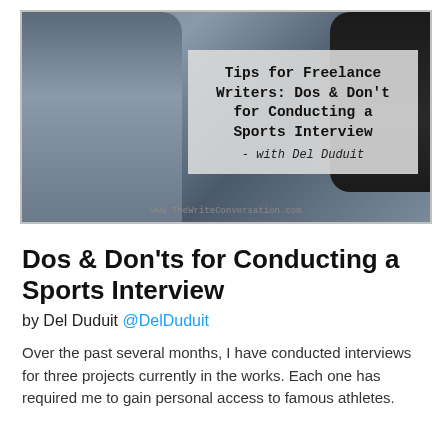[Figure (photo): A photo of two people in an interview setting with a semi-transparent text overlay. The overlay reads: 'Tips for Freelance Writers: Dos & Don't for Conducting a Sports Interview - with Del Duduit'. Watermark at bottom: www.TheWriteConversation.com]
Dos & Don'ts for Conducting a Sports Interview
by Del Duduit @DelDuduit
Over the past several months, I have conducted interviews for three projects currently in the works. Each one has required me to gain personal access to famous athletes.